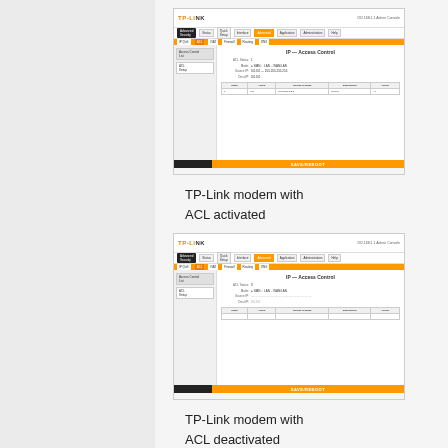[Figure (screenshot): Screenshot of TP-Link modem admin interface with ACL activated, showing IP filtering/ACL settings page with orange navigation bar and enabled ACL entries]
TP-Link modem with ACL activated
[Figure (screenshot): Screenshot of TP-Link modem admin interface with ACL deactivated, showing IP filtering/ACL settings page with orange navigation bar and disabled/empty ACL entries]
TP-Link modem with ACL deactivated